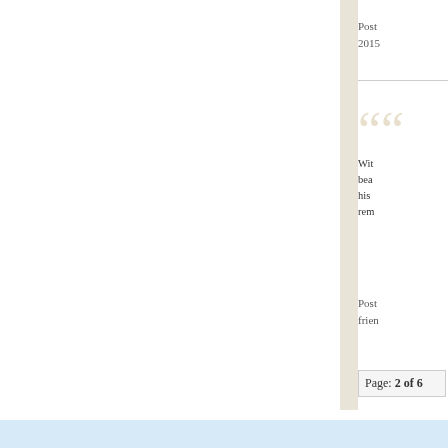Post... 2015
With bea... his rem...
Post... frien...
Page: 2 of 6